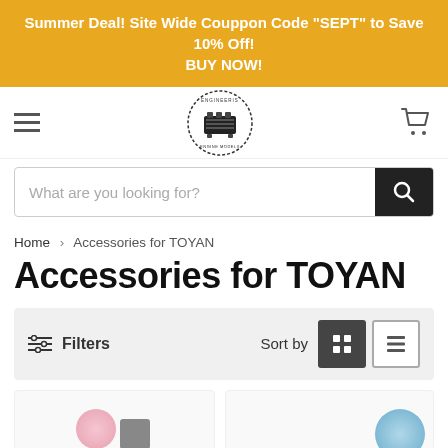Summer Deal! Site Wide Couppon Code "SEPT" to Save 10% Off! BUY NOW!
[Figure (logo): Engineeris circular logo with engine/motor icon in center]
What are you looking for?
Home > Accessories for TOYAN
Accessories for TOYAN
Filters   Sort by